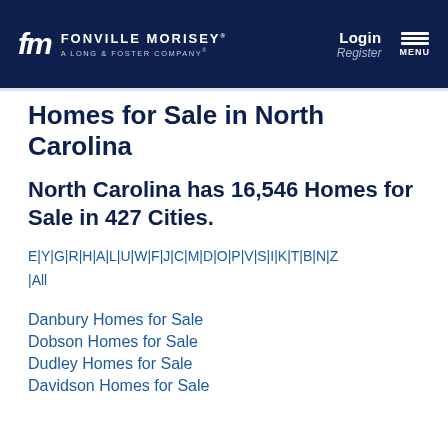fm FONVILLE MORISEY A LONG & FOSTER COMPANY | Login Register MENU
Homes for Sale in North Carolina
North Carolina has 16,546 Homes for Sale in 427 Cities.
E|Y|G|R|H|A|L|U|W|F|J|C|M|D|O|P|V|S|I|K|T|B|N|Z|All
Danbury Homes for Sale
Dobson Homes for Sale
Dudley Homes for Sale
Davidson Homes for Sale